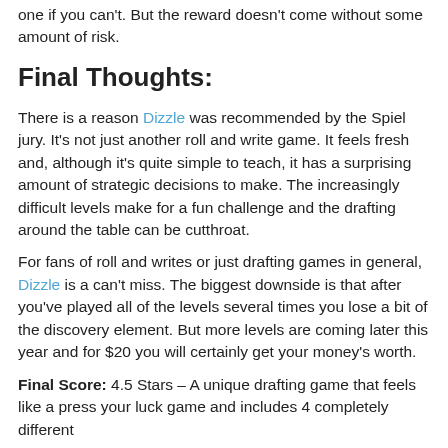one if you can't. But the reward doesn't come without some amount of risk.
Final Thoughts:
There is a reason Dizzle was recommended by the Spiel jury. It's not just another roll and write game. It feels fresh and, although it's quite simple to teach, it has a surprising amount of strategic decisions to make. The increasingly difficult levels make for a fun challenge and the drafting around the table can be cutthroat.
For fans of roll and writes or just drafting games in general, Dizzle is a can't miss. The biggest downside is that after you've played all of the levels several times you lose a bit of the discovery element. But more levels are coming later this year and for $20 you will certainly get your money's worth.
Final Score: 4.5 Stars – A unique drafting game that feels like a press your luck game and includes 4 completely different